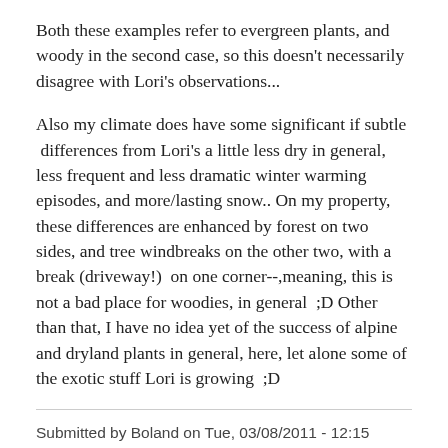Both these examples refer to evergreen plants, and woody in the second case, so this doesn't necessarily disagree with Lori's observations...
Also my climate does have some significant if subtle  differences from Lori's a little less dry in general, less frequent and less dramatic winter warming episodes, and more/lasting snow.. On my property, these differences are enhanced by forest on two sides, and tree windbreaks on the other two, with a break (driveway!)  on one corner--,meaning, this is not a bad place for woodies, in general  ;D Other than that, I have no idea yet of the success of alpine and dryland plants in general, here, let alone some of the exotic stuff Lori is growing  ;D
Submitted by Boland on Tue, 03/08/2011 - 12:15
Re: Miscellaneous Woodlanders